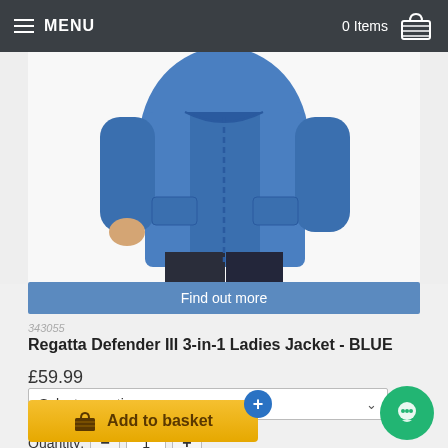MENU | 0 Items
[Figure (photo): Person wearing a blue Regatta Defender III 3-in-1 ladies jacket with dark trousers, cropped to show torso and legs on white background]
Find out more
343055
Regatta Defender III 3-in-1 Ladies Jacket - BLUE
£59.99
Select an option
Quantity: − 1 +
Add to basket